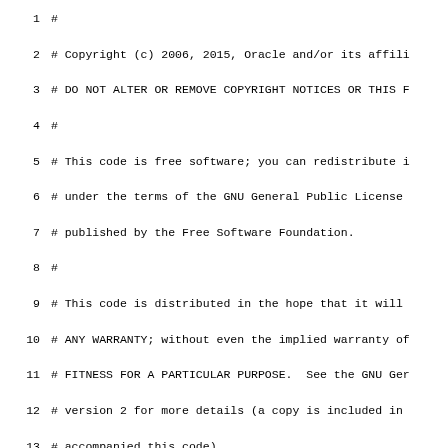Source code file with copyright header and build definitions. Lines 1-29 shown. Monospace code listing with line numbers. Content includes Oracle copyright notice (2006, 2015), GNU General Public License terms, and SLASH_JAVA ?= /java definition.